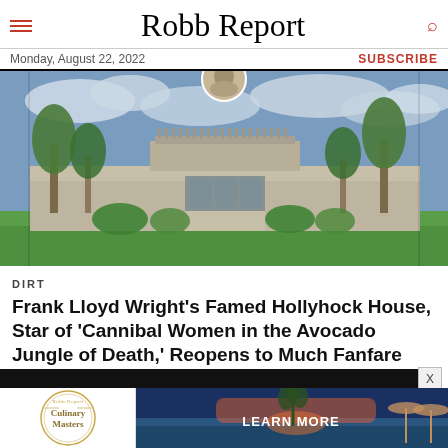Robb Report
Monday, August 22, 2022
SUBSCRIBE
[Figure (photo): Exterior photograph of Frank Lloyd Wright's Hollyhock House, a low horizontal building with ornate concrete detailing, set among green lawn and trees under a cloudy sky. A circular portrait inset appears at the top.]
DIRT
Frank Lloyd Wright's Famed Hollyhock House, Star of 'Cannibal Women in the Avocado Jungle of Death,' Reopens to Much Fanfare
[Figure (photo): Advertisement banner: left side shows Robb Report Culinary Masters circular logo in gold; right side shows a sunset beach scene with LEARN MORE button in white text.]